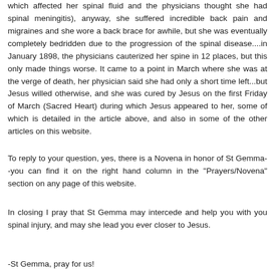which affected her spinal fluid and the physicians thought she had spinal meningitis), anyway, she suffered incredible back pain and migraines and she wore a back brace for awhile, but she was eventually completely bedridden due to the progression of the spinal disease....in January 1898, the physicians cauterized her spine in 12 places, but this only made things worse. It came to a point in March where she was at the verge of death, her physician said she had only a short time left...but Jesus willed otherwise, and she was cured by Jesus on the first Friday of March (Sacred Heart) during which Jesus appeared to her, some of which is detailed in the article above, and also in some of the other articles on this website.
To reply to your question, yes, there is a Novena in honor of St Gemma--you can find it on the right hand column in the "Prayers/Novena" section on any page of this website.
In closing I pray that St Gemma may intercede and help you with you spinal injury, and may she lead you ever closer to Jesus.
-St Gemma, pray for us!